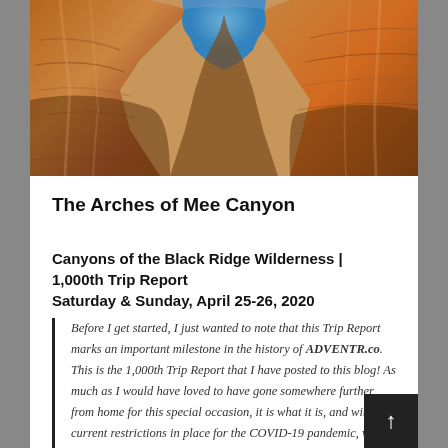[Figure (photo): Close-up photo of red sandstone canyon walls with layered rock formations and a small opening showing blue sky, Mee Canyon arches]
The Arches of Mee Canyon
Canyons of the Black Ridge Wilderness | 1,000th Trip Report
Saturday & Sunday, April 25-26, 2020
Before I get started, I just wanted to note that this Trip Report marks an important milestone in the history of ADVENTR.co. This is the 1,000th Trip Report that I have posted to this blog! As much as I would have loved to have gone somewhere further from home for this special occasion, it is what it is, and with the current restrictions in place for the COVID-19 pandemic, we had to stay close to home this time. When this year